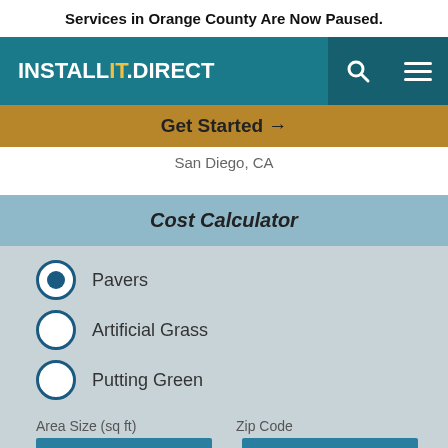Services in Orange County Are Now Paused.
[Figure (logo): INSTALL IT DIRECT logo — white bold uppercase text on teal navigation bar, with 'IT' in yellow]
Get Started →
San Diego, CA
Cost Calculator
Pavers (selected)
Artificial Grass
Putting Green
Area Size (sq ft)   Zip Code